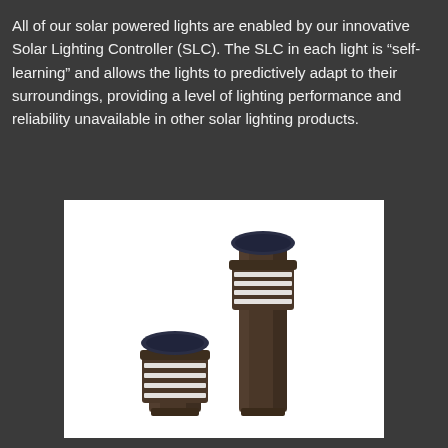All of our solar powered lights are enabled by our innovative Solar Lighting Controller (SLC). The SLC in each light is “self-learning” and allows the lights to predictively adapt to their surroundings, providing a level of lighting performance and reliability unavailable in other solar lighting products.
[Figure (photo): Two solar-powered bollard lights of different heights against a white background. Both have a cylindrical dark bronze/black body with a louvered lamp housing at the top and a solar panel on top. The taller bollard is on the right and the shorter one is in the foreground-left.]